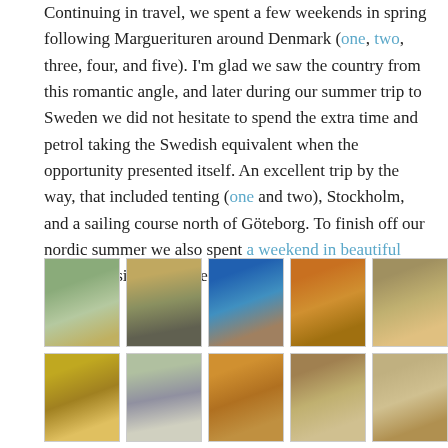Continuing in travel, we spent a few weekends in spring following Marguerituren around Denmark (one, two, three, four, and five). I'm glad we saw the country from this romantic angle, and later during our summer trip to Sweden we did not hesitate to spend the extra time and petrol taking the Swedish equivalent when the opportunity presented itself. An excellent trip by the way, that included tenting (one and two), Stockholm, and a sailing course north of Göteborg. To finish off our nordic summer we also spent a weekend in beautiful Norway visiting old friends.
[Figure (photo): Grid of travel photos showing autumn Nordic landscapes, forests, a blue-lit interior, and hikers]